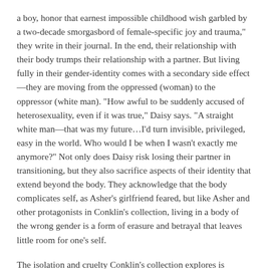a boy, honor that earnest impossible childhood wish garbled by a two-decade smorgasbord of female-specific joy and trauma," they write in their journal. In the end, their relationship with their body trumps their relationship with a partner. But living fully in their gender-identity comes with a secondary side effect—they are moving from the oppressed (woman) to the oppressor (white man). "How awful to be suddenly accused of heterosexuality, even if it was true," Daisy says. "A straight white man—that was my future…I'd turn invisible, privileged, easy in the world. Who would I be when I wasn't exactly me anymore?" Not only does Daisy risk losing their partner in transitioning, but they also sacrifice aspects of their identity that extend beyond the body. They acknowledge that the body complicates self, as Asher's girlfriend feared, but like Asher and other protagonists in Conklin's collection, living in a body of the wrong gender is a form of erasure and betrayal that leaves little room for one's self.
The isolation and cruelty Conklin's collection explores is devastating. None of their characters win completely—an impossibility—but at least they all assert their queerness, even